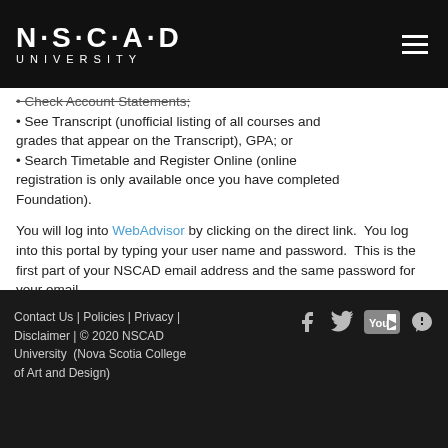NSCAD UNIVERSITY
Check Account Statements;
See Transcript (unofficial listing of all courses and grades that appear on the Transcript), GPA; or
Search Timetable and Register Online (online registration is only available once you have completed Foundation).
You will log into WebAdvisor by clicking on the direct link.  You log into this portal by typing your user name and password.  This is the first part of your NSCAD email address and the same password for your email.
Contact Us | Policies | Privacy | Disclaimer | © 2020 NSCAD University  (Nova Scotia College of Art and Design)